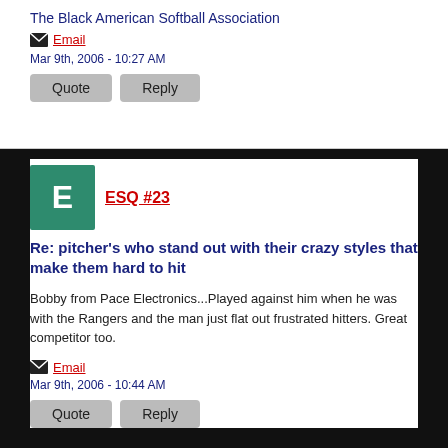The Black American Softball Association
Email
Mar 9th, 2006 - 10:27 AM
Quote  Reply
ESQ #23
Re: pitcher's who stand out with their crazy styles that make them hard to hit
Bobby from Pace Electronics...Played against him when he was with the Rangers and the man just flat out frustrated hitters. Great competitor too.
Email
Mar 9th, 2006 - 10:44 AM
Quote  Reply